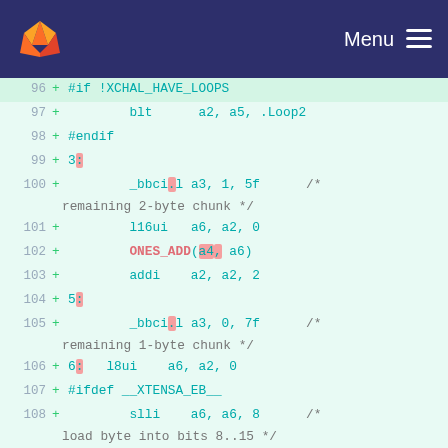GitLab — Menu
96  + #if !XCHAL_HAVE_LOOPS
97  +      blt      a2, a5, .Loop2
98  + #endif
99  + 3:
100 +      _bbci.l a3, 1, 5f   /* remaining 2-byte chunk */
101 +      l16ui   a6, a2, 0
102 +      ONES_ADD(a4, a6)
103 +      addi    a2, a2, 2
104 + 5:
105 +      _bbci.l a3, 0, 7f   /* remaining 1-byte chunk */
106 + 6:   l8ui    a6, a2, 0
107 + #ifdef __XTENSA_EB__
108 +      slli    a6, a6, 8   /* load byte into bits 8..15 */
109 + #endif
110 +      ONES_ADD(a4, a6)
111 + 7:
112 +      mov     a2, a4